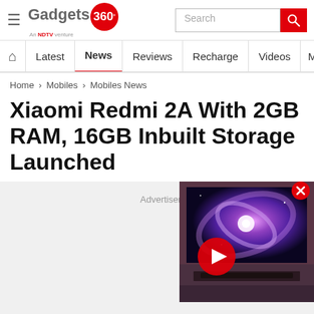Gadgets 360 — An NDTV venture
Home > Mobiles > Mobiles News
Xiaomi Redmi 2A With 2GB RAM, 16GB Inbuilt Storage Launched
Advertisement
[Figure (screenshot): Video thumbnail showing a TV displaying a spiral galaxy, with a red play button overlay]